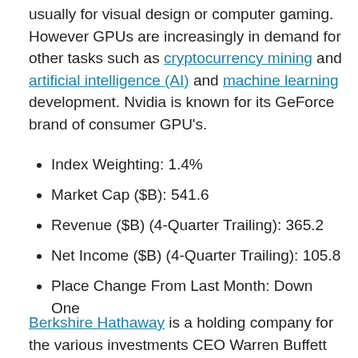usually for visual design or computer gaming. However GPUs are increasingly in demand for other tasks such as cryptocurrency mining and artificial intelligence (AI) and machine learning development. Nvidia is known for its GeForce brand of consumer GPU's.
Index Weighting: 1.4%
Market Cap ($B): 541.6
Revenue ($B) (4-Quarter Trailing): 365.2
Net Income ($B) (4-Quarter Trailing): 105.8
Place Change From Last Month: Down One
Berkshire Hathaway is a holding company for the various investments CEO Warren Buffett has made over the years. Among its numerous holdings are insurance businesses such as GEICO, large energy and utilities businesses, a